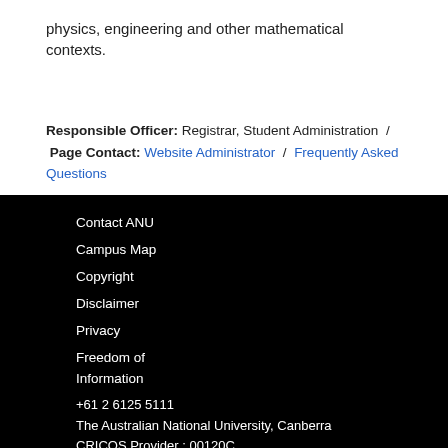physics, engineering and other mathematical contexts.
Responsible Officer: Registrar, Student Administration  /  Page Contact: Website Administrator  /  Frequently Asked Questions
Contact ANU
Campus Map
Copyright
Disclaimer
Privacy
Freedom of Information
+61 2 6125 5111
The Australian National University, Canberra
CRICOS Provider : 00120C
ABN : 52 234 063 906